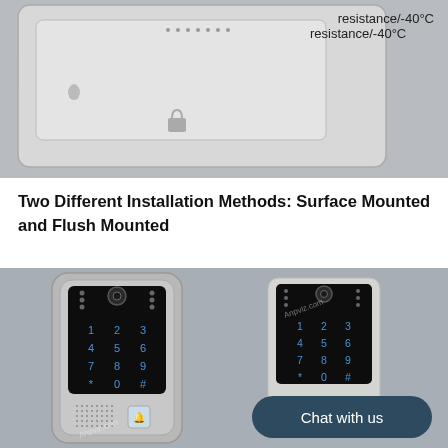[Figure (photo): Top portion of a door intercom/access control device mounted on a gray wall, showing the top panel with dots pattern, water drop, and lock icon. Text 'resistance/-40°C' visible on the right side.]
resistance/-40°C
Two Different Installation Methods: Surface Mounted and Flush Mounted
[Figure (photo): Two door intercom/video doorbell devices shown side by side. Left device is surface mounted (with outer housing/bracket), right device is flush mounted (sits flush against wall). Both have black touchpad screens with numeric keypads (1-9, *, 0, #) lit in blue, camera at top, speaker grille, and bell button. Background is gray textured wall. A 'Chat with us' button overlay appears in the bottom right.]